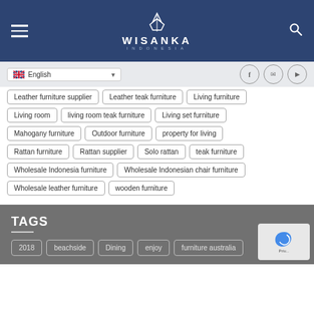Wisanka Indonesia - furniture website header with logo, hamburger menu, and search icon
Leather furniture supplier
Leather teak furniture
Living furniture
Living room
living room teak furniture
Living set furniture
Mahogany furniture
Outdoor furniture
property for living
Rattan furniture
Rattan supplier
Solo rattan
teak furniture
Wholesale Indonesia furniture
Wholesale Indonesian chair furniture
Wholesale leather furniture
wooden furniture
TAGS
2018
beachside
Dining
enjoy
furniture australia